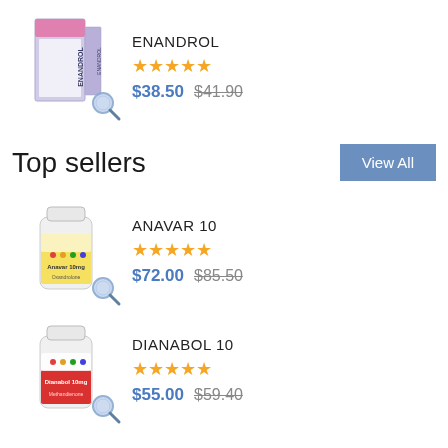[Figure (photo): ENANDROL product box image with magnifier icon]
ENANDROL
★★★★★
$38.50  $41.90
Top sellers
View All
[Figure (photo): ANAVAR 10 product bottle image with magnifier icon]
ANAVAR 10
★★★★★
$72.00  $85.50
[Figure (photo): DIANABOL 10 product bottle image with magnifier icon]
DIANABOL 10
★★★★★
$55.00  $59.40